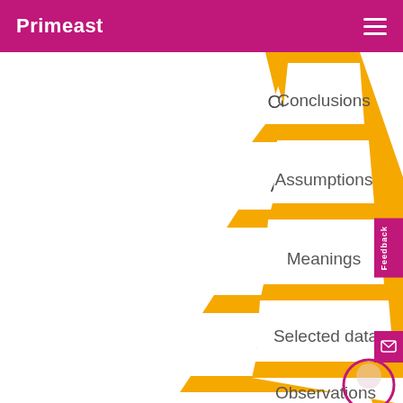Primeast
[Figure (illustration): A ladder diagram shown in perspective/foreshortened view with golden-yellow rails and rungs. Five labeled rungs are visible from top to bottom: Conclusions, Assumptions, Meanings, Selected data, Observations. A pink circle is partially visible at the bottom right.]
Feedback